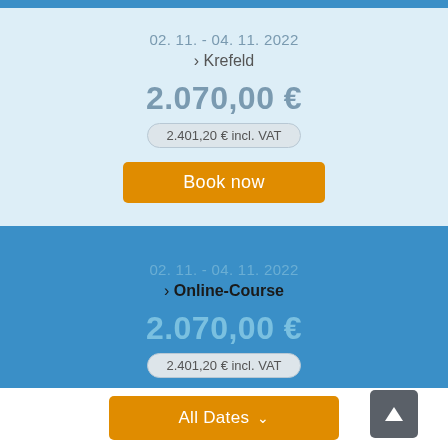02. 11. - 04. 11. 2022
› Krefeld
2.070,00 €
2.401,20 € incl. VAT
Book now
02. 11. - 04. 11. 2022
› Online-Course
2.070,00 €
2.401,20 € incl. VAT
Book now
All Dates